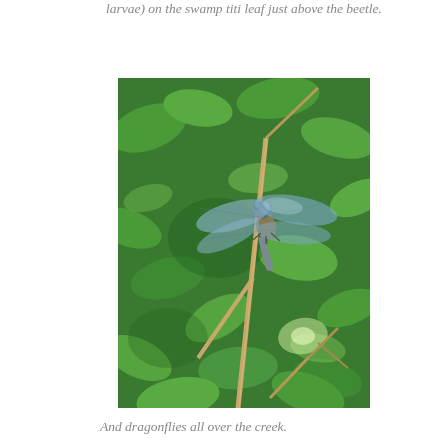larvae) on the swamp titi leaf just above the beetle.
[Figure (photo): A dragonfly perched on a bare twig or branch, with green leafy vegetation in the background. The dragonfly's wings are spread and appear dark/iridescent blue-gray.]
And dragonflies all over the creek.